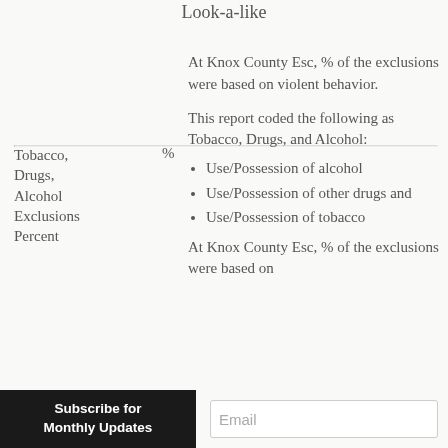Look-a-like
At Knox County Esc, % of the exclusions were based on violent behavior.
Tobacco, Drugs, Alcohol Exclusions Percent
%
This report coded the following as Tobacco, Drugs, and Alcohol:
Use/Possession of alcohol
Use/Possession of other drugs and
Use/Possession of tobacco
At Knox County Esc, % of the exclusions were based on
Subscribe for Monthly Updates
Email